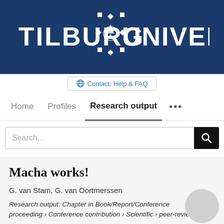[Figure (logo): Tilburg University logo with white text and crest on dark blue background]
Contact, Help & FAQ
Home   Profiles   Research output   ...
Search...
Macha works!
G. van Stam, G. van Oortmerssen
Research output: Chapter in Book/Report/Conference proceeding › Conference contribution › Scientific › peer-review